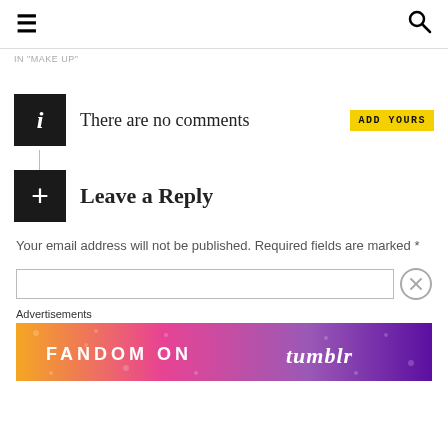≡  🔍
IN "MAKE UP"
There are no comments  ADD YOURS
Leave a Reply
Your email address will not be published. Required fields are marked *
Advertisements
[Figure (illustration): Fandom on Tumblr advertisement banner with colorful gradient background]